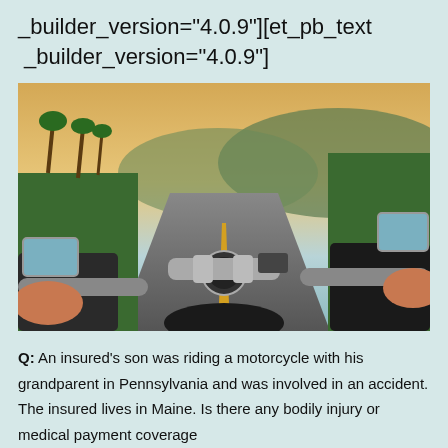_builder_version="4.0.9"][et_pb_text _builder_version="4.0.9"]
[Figure (photo): First-person perspective view from a motorcycle rider on an open road, showing handlebars, mirrors, and a scenic road with palm trees and mountains in the background.]
Q: An insured's son was riding a motorcycle with his grandparent in Pennsylvania and was involved in an accident. The insured lives in Maine. Is there any bodily injury or medical payment coverage